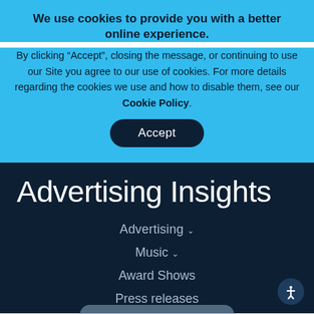We use cookies to provide you with a better online experience.
By clicking “Accept”, closing the message, or continuing to use our Site you agree to our use of cookies. For more details regarding the cookies we use and how to disable them, see our Cookie Policy.
Accept
Advertising Insights
Advertising ∨
Music ∨
Award Shows
Press releases